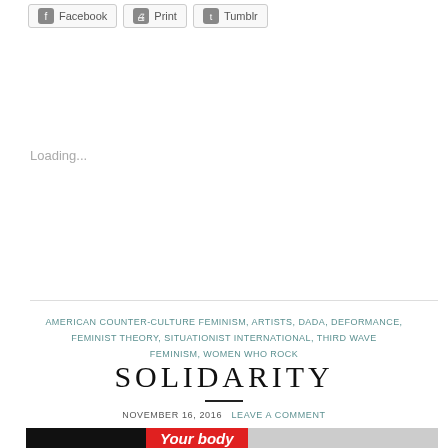[Figure (screenshot): Share buttons for Facebook, Print, and Tumblr at the top of a blog page]
Loading...
AMERICAN COUNTER-CULTURE FEMINISM, ARTISTS, DADA, DEFORMANCE, FEMINIST THEORY, SITUATIONIST INTERNATIONAL, THIRD WAVE FEMINISM, WOMEN WHO ROCK
SOLIDARITY
NOVEMBER 16, 2016   LEAVE A COMMENT
[Figure (photo): Image with black background and red banner text reading 'Your body']